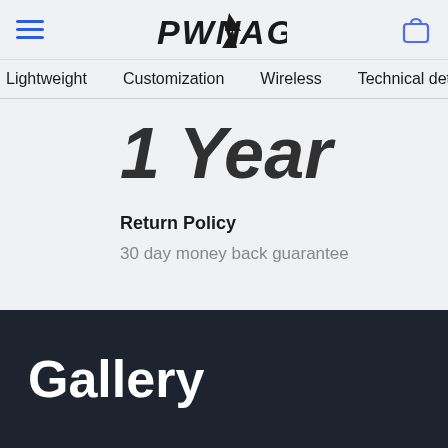PWNAGE
Lightweight   Customization   Wireless   Technical det
1 Year
Return Policy
30 day money back guarantee
Gallery